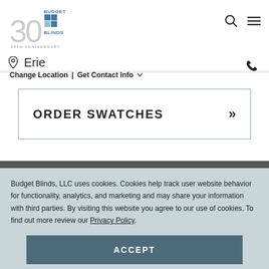[Figure (logo): Budget Blinds 30th Anniversary logo with circular '30' numeral and blue brand text]
Erie
Change Location | Get Contact Info ˅
ORDER SWATCHES »
Budget Blinds, LLC uses cookies. Cookies help track user website behavior for functionality, analytics, and marketing and may share your information with third parties. By visiting this website you agree to our use of cookies. To find out more review our Privacy Policy.
ACCEPT